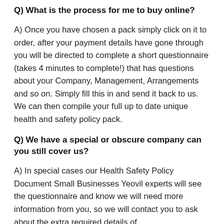Q) What is the process for me to buy online?
A) Once you have chosen a pack simply click on it to order, after your payment details have gone through you will be directed to complete a short questionnaire (takes 4 minutes to complete!) that has questions about your Company, Management, Arrangements and so on. Simply fill this in and send it back to us. We can then compile your full up to date unique health and safety policy pack.
Q) We have a special or obscure company can you still cover us?
A) In special cases our Health Safety Policy Document Small Businesses Yeovil experts will see the questionnaire and know we will need more information from you, so we will contact you to ask about the extra required details of